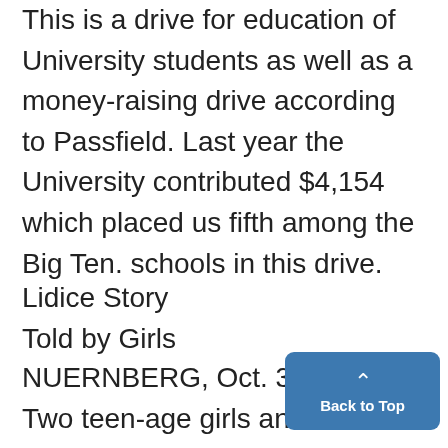This is a drive for education of University students as well as a money-raising drive according to Passfield. Last year the University contributed $4,154 which placed us fifth among the Big Ten. schools in this drive.
Lidice Story
Told by Girls
NUERNBERG, Oct. 30-(OP)- Two teen-age girls and a middle-aged woman, survivors of Lidice, told for the first time in a war crimes court today the dramatic